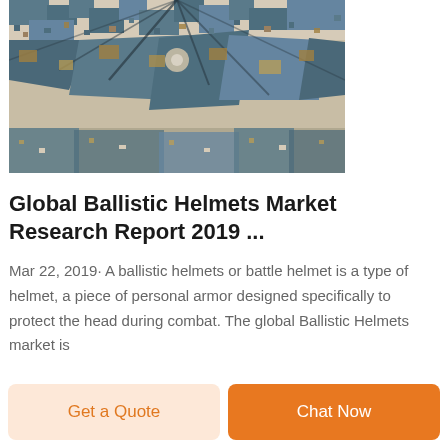[Figure (photo): Close-up photo of military digital camouflage fabric with blue-grey, tan/brown, and off-white pixelated pattern, crumpled/folded.]
Global Ballistic Helmets Market Research Report 2019 ...
Mar 22, 2019· A ballistic helmets or battle helmet is a type of helmet, a piece of personal armor designed specifically to protect the head during combat. The global Ballistic Helmets market is